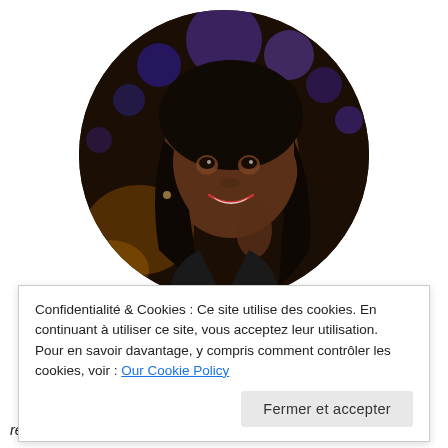[Figure (photo): Circular cropped portrait photo of a smiling woman with braided hair, in a dark ambient setting with blurred bokeh lights in the background (purple/blue tones).]
Confidentialité & Cookies : Ce site utilise des cookies. En continuant à utiliser ce site, vous acceptez leur utilisation.
Pour en savoir davantage, y compris comment contrôler les cookies, voir : Our Cookie Policy
Fermer et accepter
réponse... à mesure que le temps passe j'aime me redéfinir.